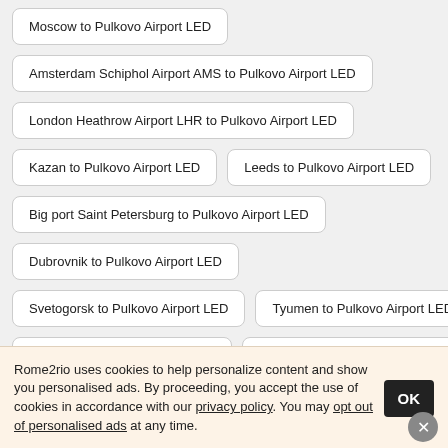Moscow to Pulkovo Airport LED
Amsterdam Schiphol Airport AMS to Pulkovo Airport LED
London Heathrow Airport LHR to Pulkovo Airport LED
Kazan to Pulkovo Airport LED
Leeds to Pulkovo Airport LED
Big port Saint Petersburg to Pulkovo Airport LED
Dubrovnik to Pulkovo Airport LED
Svetogorsk to Pulkovo Airport LED
Tyumen to Pulkovo Airport LED
Marseille to Pulkovo Airport LED
Aalborg to Pulkovo Airport LED
Rome2rio uses cookies to help personalize content and show you personalised ads. By proceeding, you accept the use of cookies in accordance with our privacy policy. You may opt out of personalised ads at any time.